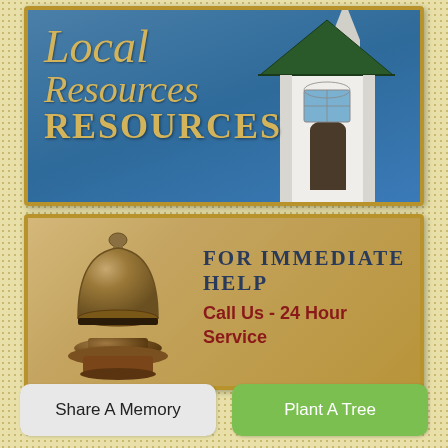[Figure (illustration): Top banner with blue sky background, white church/chapel building with steeple on the right, and text 'Local Resources' on the left in gold/tan serif fonts]
[Figure (illustration): Middle banner with tan/gold gradient background, bronze hotel service bell on the left, and text 'FOR IMMEDIATE HELP / Call Us - 24 Hour Service' on the right]
Share A Memory
Plant A Tree